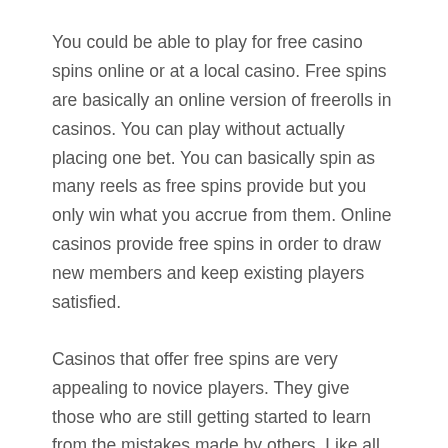You could be able to play for free casino spins online or at a local casino. Free spins are basically an online version of freerolls in casinos. You can play without actually placing one bet. You can basically spin as many reels as free spins provide but you only win what you accrue from them. Online casinos provide free spins in order to draw new members and keep existing players satisfied.
Casinos that offer free spins are very appealing to novice players. They give those who are still getting started to learn from the mistakes made by others. Like all casino games, gamblers should be aware of the house advantage, which is the expected amount that can be generated from an investment.
Casino free spins are subject to wagering requirements. They are intended to limit the possibility of people